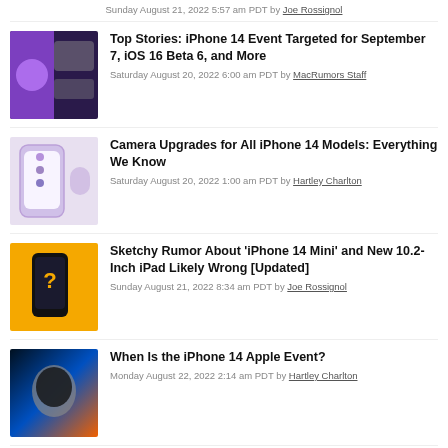Sunday August 21, 2022 5:57 am PDT by Joe Rossignol
Top Stories: iPhone 14 Event Targeted for September 7, iOS 16 Beta 6, and More
Saturday August 20, 2022 6:00 am PDT by MacRumors Staff
Camera Upgrades for All iPhone 14 Models: Everything We Know
Saturday August 20, 2022 1:00 am PDT by Hartley Charlton
Sketchy Rumor About 'iPhone 14 Mini' and New 10.2-Inch iPad Likely Wrong [Updated]
Sunday August 21, 2022 8:34 am PDT by Joe Rossignol
When Is the iPhone 14 Apple Event?
Monday August 22, 2022 2:14 am PDT by Hartley Charlton
Gurman: Apple Planning to Show Ads in Maps App Starting Next Year